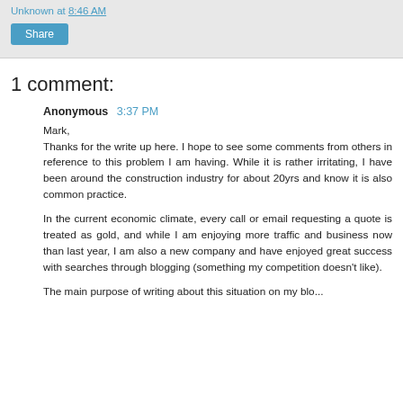Unknown at 8:46 AM
Share
1 comment:
Anonymous 3:37 PM
Mark,
Thanks for the write up here. I hope to see some comments from others in reference to this problem I am having. While it is rather irritating, I have been around the construction industry for about 20yrs and know it is also common practice.

In the current economic climate, every call or email requesting a quote is treated as gold, and while I am enjoying more traffic and business now than last year, I am also a new company and have enjoyed great success with searches through blogging (something my competition doesn't like).

The main purpose of writing about this situation on my blo...